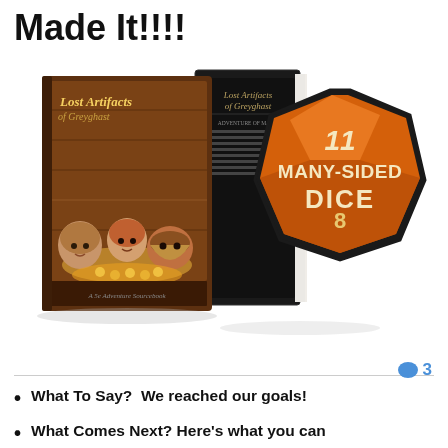Made It!!!!
[Figure (illustration): Book cover for 'Lost Artifacts of Greyghast' (a 5e adventure sourcebook showing three characters peeking over a chest filled with gold) displayed alongside its spine/back, and the Many-Sided Dice podcast logo (an orange d20 with the text 'Many-Sided Dice' and number 8).]
3
What To Say?  We reached our goals!
What Comes Next? Here's what you can